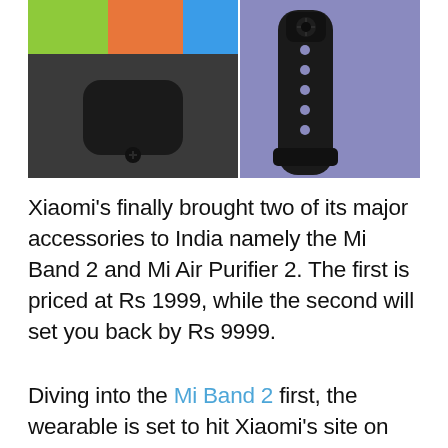[Figure (photo): Product photo collage of Xiaomi Mi Band 2 showing the fitness tracker device from multiple angles against colorful and grey/purple backgrounds]
Xiaomi's finally brought two of its major accessories to India namely the Mi Band 2 and Mi Air Purifier 2. The first is priced at Rs 1999, while the second will set you back by Rs 9999.
Diving into the Mi Band 2 first, the wearable is set to hit Xiaomi's site on